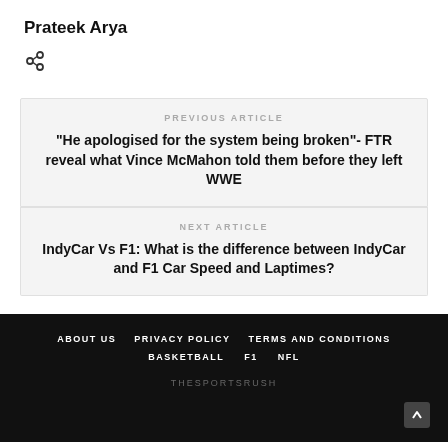Prateek Arya
[Figure (other): Link/share icon]
PREVIOUS ARTICLE
“He apologised for the system being broken”- FTR reveal what Vince McMahon told them before they left WWE
NEXT ARTICLE
IndyCar Vs F1: What is the difference between IndyCar and F1 Car Speed and Laptimes?
ABOUT US   PRIVACY POLICY   TERMS AND CONDITIONS   BASKETBALL   F1   NFL   THESPORTSRUSH